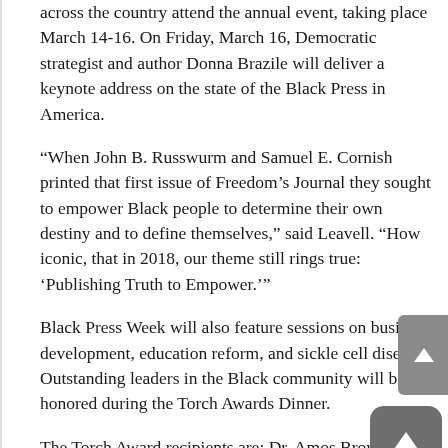across the country attend the annual event, taking place March 14-16. On Friday, March 16, Democratic strategist and author Donna Brazile will deliver a keynote address on the state of the Black Press in America.
“When John B. Russwurm and Samuel E. Cornish printed that first issue of Freedom’s Journal they sought to empower Black people to determine their own destiny and to define themselves,” said Leavell. “How iconic, that in 2018, our theme still rings true: ‘Publishing Truth to Empower.’”
Black Press Week will also feature sessions on business development, education reform, and sickle cell disease. Outstanding leaders in the Black community will be honored during the Torch Awards Dinner.
The Torch Award recipients are: Dr. Amos Brown, pastor of the San Francisco Third Baptist Church; Rep. Barbara Jean Lee (D-Calif.); and James Farmer, a senior